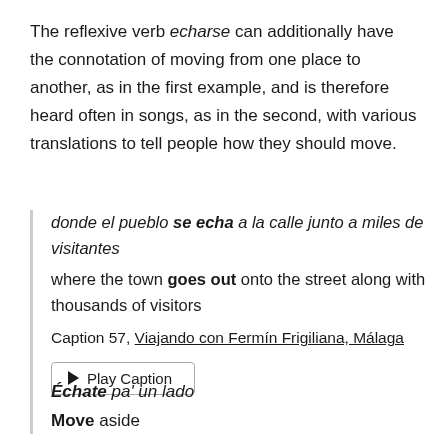The reflexive verb echarse can additionally have the connotation of moving from one place to another, as in the first example, and is therefore heard often in songs, as in the second, with various translations to tell people how they should move.
donde el pueblo se echa a la calle junto a miles de visitantes
where the town goes out onto the street along with thousands of visitors
Caption 57, Viajando con Fermín Frigiliana, Málaga
▶ Play Caption
Échate pa' un lado
Move aside